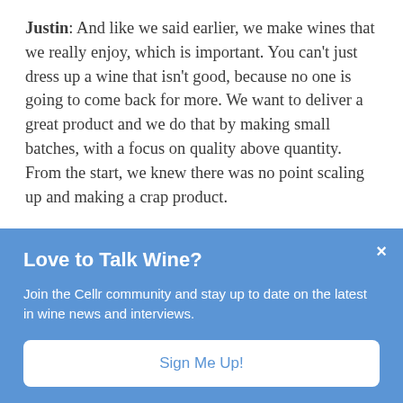Justin: And like we said earlier, we make wines that we really enjoy, which is important. You can't just dress up a wine that isn't good, because no one is going to come back for more. We want to deliver a great product and we do that by making small batches, with a focus on quality above quantity. From the start, we knew there was no point scaling up and making a crap product.
Scott: When we started we tried to do a...
Love to Talk Wine?
Join the Cellr community and stay up to date on the latest in wine news and interviews.
Sign Me Up!